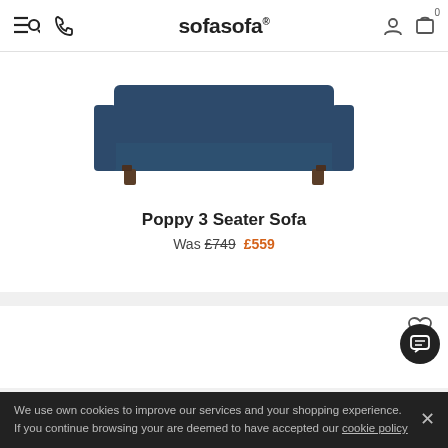sofasofa
[Figure (photo): Dark navy blue Poppy 3 Seater Sofa on wooden legs, viewed from the front/side on white background]
Poppy 3 Seater Sofa
Was £749  £559
[Figure (photo): Second product card, partially visible, with a heart/wishlist icon in top right]
We use own cookies to improve our services and your shopping experience. If you continue browsing your are deemed to have accepted our cookie policy